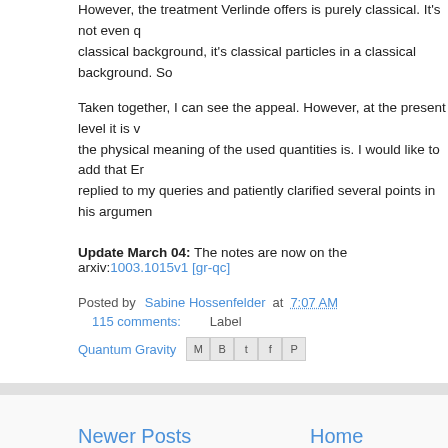However, the treatment Verlinde offers is purely classical. It's not even q classical background, it's classical particles in a classical background. So
Taken together, I can see the appeal. However, at the present level it is v the physical meaning of the used quantities is. I would like to add that Er replied to my queries and patiently clarified several points in his argumen
Update March 04: The notes are now on the arxiv:1003.1015v1 [gr-qc]
Posted by Sabine Hossenfelder at 7:07 AM   115 comments:   Labels
Quantum Gravity
Newer Posts
Home
View mobile version
Subscribe to: Posts (Atom)